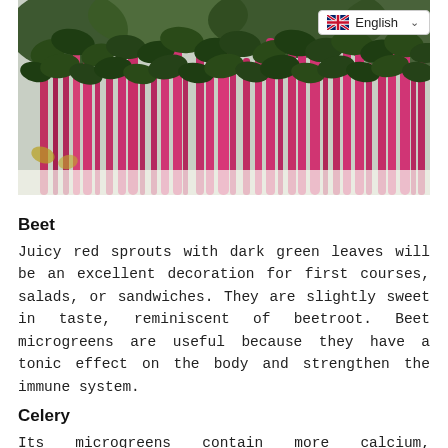[Figure (photo): Close-up photo of beet microgreens with bright pink/red stems and dark green leaves against a white background.]
Beet
Juicy red sprouts with dark green leaves will be an excellent decoration for first courses, salads, or sandwiches. They are slightly sweet in taste, reminiscent of beetroot. Beet microgreens are useful because they have a tonic effect on the body and strengthen the immune system.
Celery
Its microgreens contain more calcium, potassium, and vitamin C than celery stalks and roots. Young sprouts have a salty-sweet, tangy taste. They are ideal for vinaigrette, sandwiches, first courses, stews, adding a little spiciness to